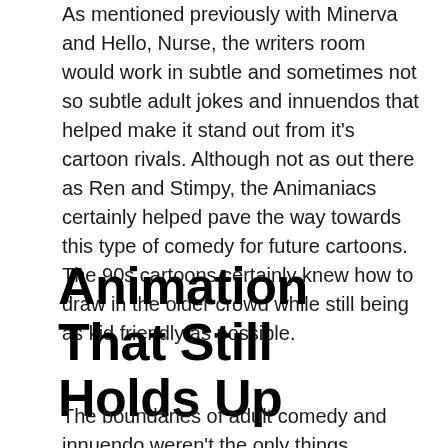As mentioned previously with Minerva and Hello, Nurse, the writers room would work in subtle and sometimes not so subtle adult jokes and innuendos that helped make it stand out from it's cartoon rivals. Although not as out there as Ren and Stimpy, the Animaniacs certainly helped pave the way towards this type of comedy for future cartoons. The 90s cartoons certainly knew how to draw in the older crowd while still being as kid friendly as possible.
Animation That Still Holds Up
The boundaries of adult comedy and innuendo weren't the only things pushing the boundaries, the